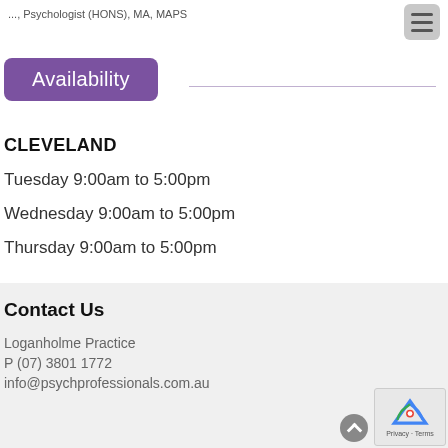...Psychologist (HONS), MA, MAPS
Availability
CLEVELAND
Tuesday 9:00am to 5:00pm
Wednesday 9:00am to 5:00pm
Thursday 9:00am to 5:00pm
Contact Us
Loganholme Practice
P (07) 3801 1772
info@psychprofessionals.com.au